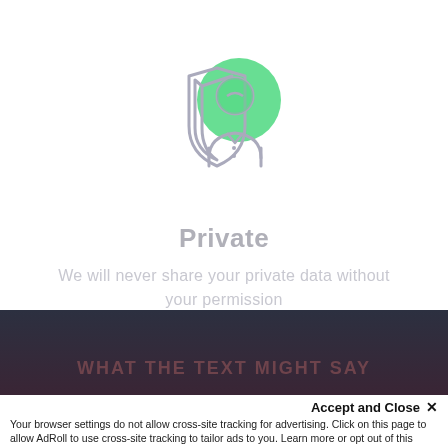[Figure (illustration): Privacy illustration: a person silhouette with a shield icon overlapping a green circle, drawn in light gray outline style with green accent circle]
Private
We will never share your private data without your permission
[Figure (screenshot): Dark navy/maroon banner area below the main content, partially showing background content]
Accept and Close ×
Your browser settings do not allow cross-site tracking for advertising. Click on this page to allow AdRoll to use cross-site tracking to tailor ads to you. Learn more or opt out of this AdRoll tracking by clicking here. This message only appears once.